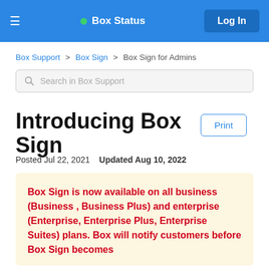≡  • Box Status  Log In
Box Support > Box Sign > Box Sign for Admins
Search in Box Support
Introducing Box Sign
Posted Jul 22, 2021   Updated Aug 10, 2022
Box Sign is now available on all business (Business , Business Plus) and enterprise (Enterprise, Enterprise Plus, Enterprise Suites) plans. Box will notify customers before Box Sign becomes